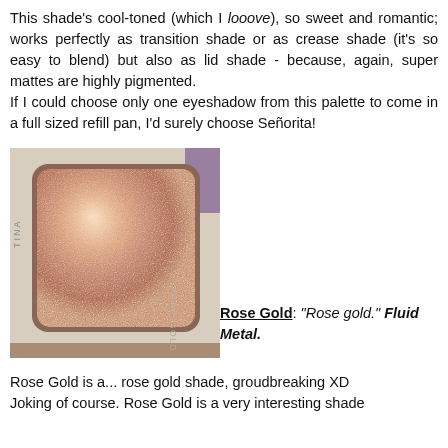This shade's cool-toned (which I looove), so sweet and romantic; works perfectly as transition shade or as crease shade (it's so easy to blend) but also as lid shade - because, again, super mattes are highly pigmented.
If I could choose only one eyeshadow from this palette to come in a full sized refill pan, I'd surely choose Señorita!
[Figure (photo): Close-up photograph of a rose gold shimmer eyeshadow pan in a palette. The pan has a rounded rectangular shape with a metallic rose gold shimmer powder inside, set in a beige/cream palette with purple visible at the edge. The label 'ROSE GOLD' is visible on the side of the pan.]
Rose Gold: "Rose gold." Fluid Metal.
Rose Gold is a... rose gold shade, groudbreaking XD
Joking of course. Rose Gold is a very interesting shade